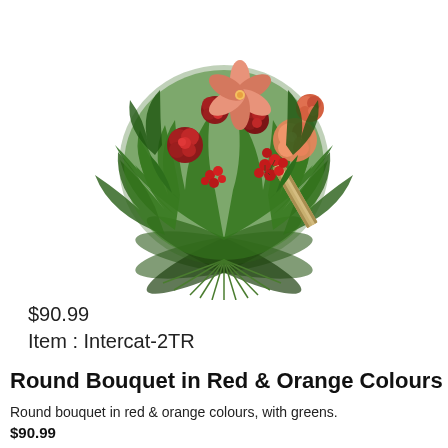[Figure (photo): A round floral bouquet with red roses, orange carnations, red berries, tropical green leaves and palm frond filler, arranged in a compact round shape on a white background.]
$90.99
Item : Intercat-2TR
Round Bouquet in Red & Orange Colours
Round bouquet in red & orange colours, with greens.
$90.99